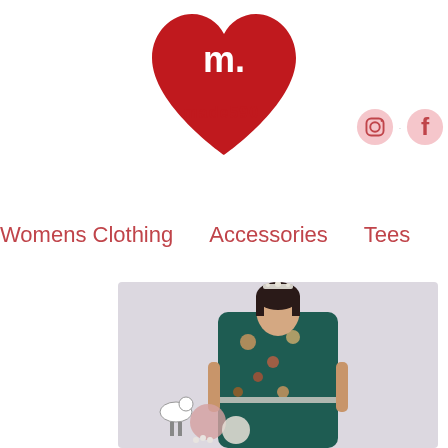[Figure (logo): made590 logo: red heart shape with white 'm.' text and 'made590.' text inside]
[Figure (illustration): Instagram and Facebook social media icons in pink/light tones]
Womens Clothing   Accessories   Tees   Home & G
[Figure (photo): Woman wearing a dark teal floral print dress with a tiara crown, tattoos on arms, standing with decorative props including a seagull figurine and balloons on a light purple background]